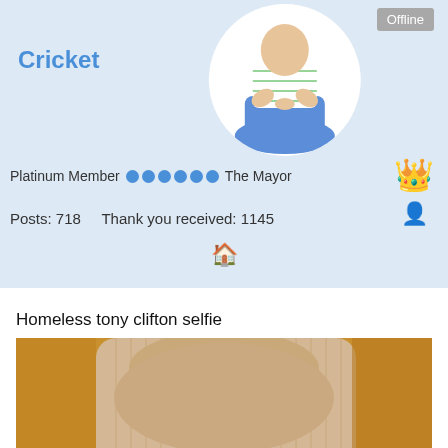Cricket
Offline
[Figure (photo): Profile avatar: man in striped shirt sitting cross-legged in a circular frame]
Platinum Member  ●●●●●●  The Mayor
[Figure (illustration): Crown emoji and businessman emoji representing The Mayor badge]
Posts: 718    Thank you received: 1145
[Figure (illustration): Home icon emoji]
Homeless tony clifton selfie
[Figure (photo): Close-up photo of a beige/tan knitted hat or sweater against an orange-yellow background, taken from below showing textured fabric]